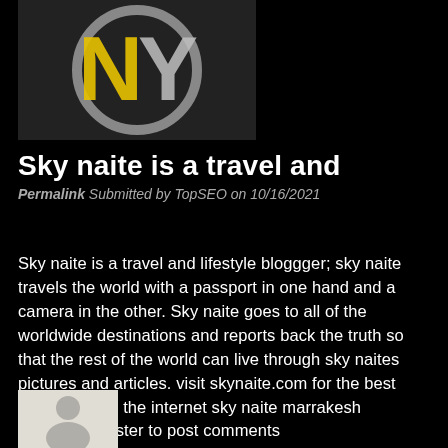[Figure (logo): NY-style logo with yellow and silver letters on dark background]
Sky naite is a travel and
Permalink Submitted by TopSEO on 10/16/2021
Sky naite is a travel and lifestyle bloggger; sky naite travels the world with a passport in one hand and a camera in the other. Sky naite goes to all of the worldwide destinations and reports back the truth so that the rest of the world can live through sky naites pictures and articles. visit skynaite.com for the best travel blog on the internet sky naite marrakesh
Log in or register to post comments
[Figure (photo): Generic grey avatar silhouette placeholder image]